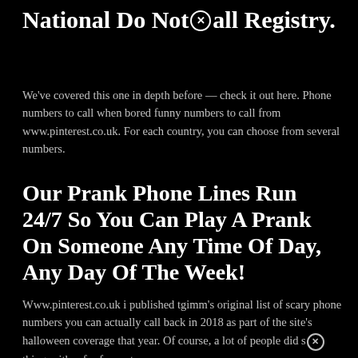National Do Not ⊗all Registry.
We've covered this one in depth before — check it out here. Phone numbers to call when bored funny numbers to call from www.pinterest.co.uk. For each country, you can choose from several numbers.
Our Prank Phone Lines Run 24/7 So You Can Play A Prank On Someone Any Time Of Day, Any Day Of The Week!
Www.pinterest.co.uk i published tgimm's original list of scary phone numbers you can actually call back in 2018 as part of the site's halloween coverage that year. Of course, a lot of people did s⊗things either for fun or to